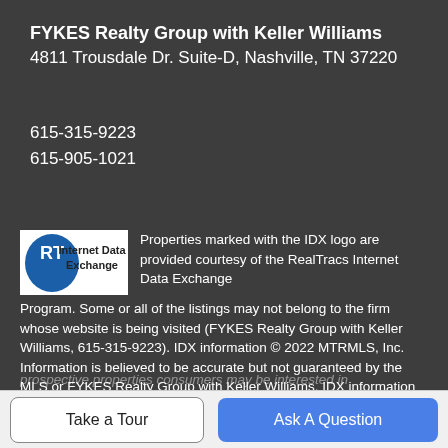FYKES Realty Group with Keller Williams
4811 Trousdale Dr. Suite-D, Nashville, TN 37220
615-315-9223
615-905-1021
[Figure (logo): RealTracs Internet Data Exchange logo with RT initials in blue oval]
Properties marked with the IDX logo are provided courtesy of the RealTracs Internet Data Exchange Program. Some or all of the listings may not belong to the firm whose website is being visited (FYKES Realty Group with Keller Williams, 615-315-9223). IDX information © 2022 MTRMLS, Inc. Information is believed to be accurate but not guaranteed by the MLS or FYKES Realty Group with Keller Williams. IDX information is provided exclusively for consumers' personal, non-commercial use and may not be used for any purpose other than to identify
prospective properties consumers may be interested in
Take a Tour
Ask A Question